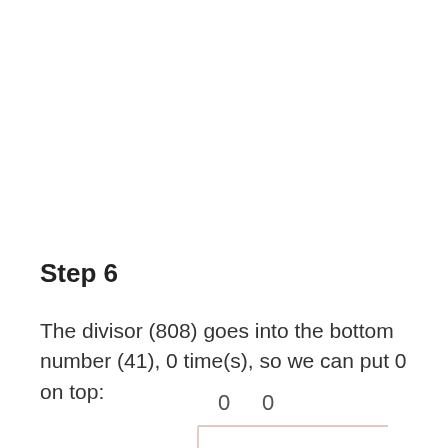Step 6
The divisor (808) goes into the bottom number (41), 0 time(s), so we can put 0 on top:
[Figure (math-figure): Long division display showing quotient digits '0  0' above a division bracket with a partial dividend visible at the bottom]